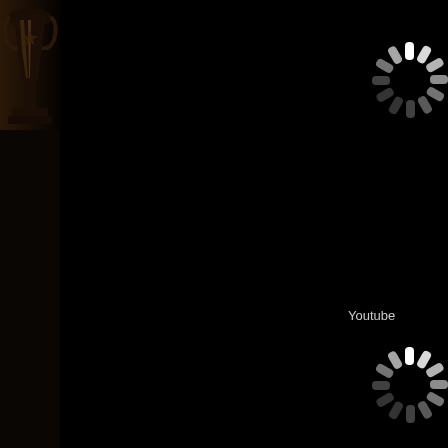[Figure (photo): Dark silhouette/partial view of a trophy or award statue on the left side, set against a very dark brown/black background]
[Figure (illustration): Loading spinner icon (white radial dashes arranged in a circle) in the upper right area]
Youtube
[Figure (illustration): Loading spinner icon (white radial dashes arranged in a circle) in the middle right area]
Twitter
[Figure (illustration): Loading spinner icon (white radial dashes arranged in a circle) in the lower right area]
Tweet like ta